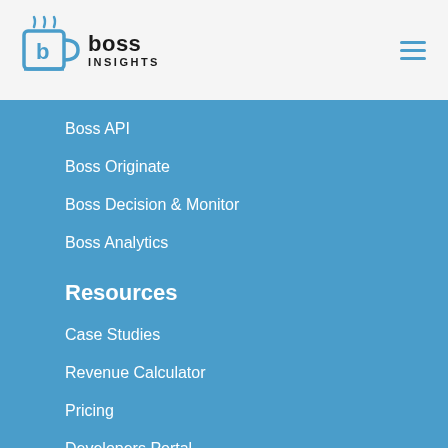[Figure (logo): Boss Insights logo with mug icon and text 'boss INSIGHTS']
Boss API
Boss Originate
Boss Decision & Monitor
Boss Analytics
Resources
Case Studies
Revenue Calculator
Pricing
Developers Portal
Company
About Us